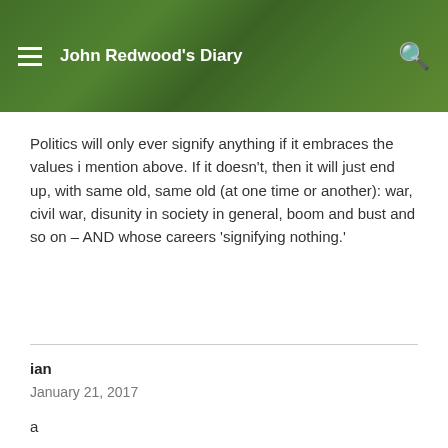John Redwood's Diary
Politics will only ever signify anything if it embraces the values i mention above. If it doesn't, then it will just end up, with same old, same old (at one time or another): war, civil war, disunity in society in general, boom and bust and so on – AND whose careers 'signifying nothing.'
ian
January 21, 2017
a